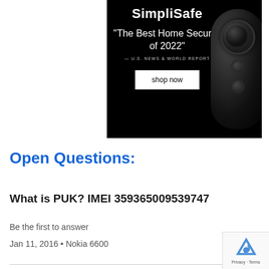[Figure (photo): SimpliSafe advertisement with black background showing a security camera and text 'The Best Home Security of 2022' - U.S. News & World Report, with a 'shop now' button]
Open Questions:
What is PUK? IMEI 359365009539747
Be the first to answer
Jan 11, 2016 • Nokia 6600